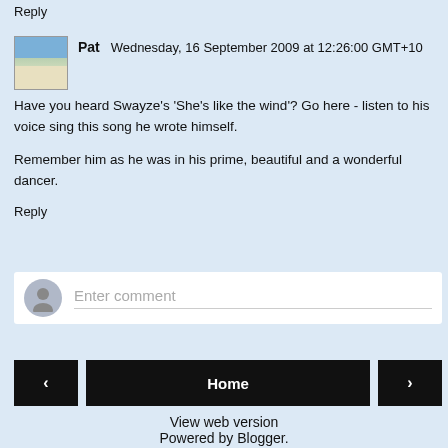Reply
Pat  Wednesday, 16 September 2009 at 12:26:00 GMT+10
Have you heard Swayze's 'She's like the wind'? Go here - listen to his voice sing this song he wrote himself.

Remember him as he was in his prime, beautiful and a wonderful dancer.
Reply
Enter comment
Home
View web version
Powered by Blogger.